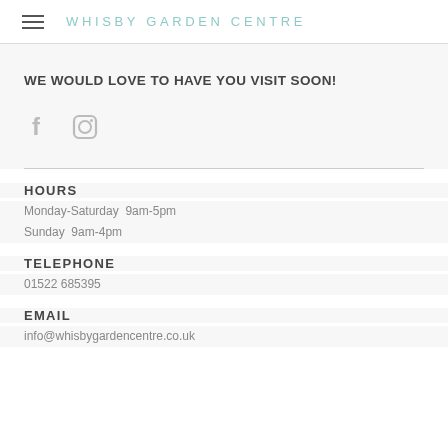WHISBY GARDEN CENTRE
WE WOULD LOVE TO HAVE YOU VISIT SOON!
[Figure (illustration): Social media icons: Facebook (f) and Instagram (camera) in grey]
HOURS
Monday-Saturday  9am-5pm
Sunday  9am-4pm
TELEPHONE
01522 685395
EMAIL
info@whisbygardencentre.co.uk